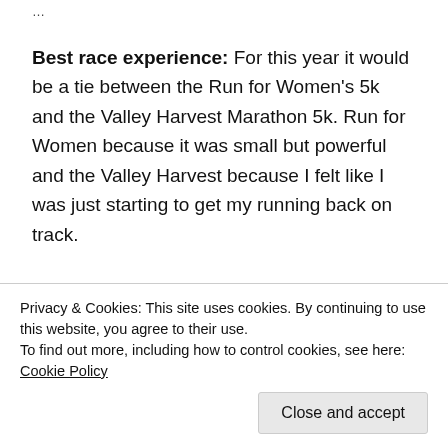...
Best race experience: For this year it would be a tie between the Run for Women's 5k and the Valley Harvest Marathon 5k. Run for Women because it was small but powerful and the Valley Harvest because I felt like I was just starting to get my running back on track.
Favourite piece of gear: That would be my bestie: Green Garmin 🙂
[Figure (screenshot): Green advertisement banner with white inner box containing 'Secure Your Site' in green text]
Privacy & Cookies: This site uses cookies. By continuing to use this website, you agree to their use.
To find out more, including how to control cookies, see here: Cookie Policy
Close and accept